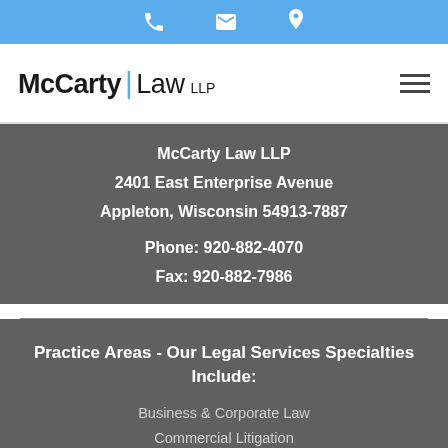[Figure (other): Top blue navigation bar with phone, email, and location icons]
[Figure (logo): McCarty Law LLP logo with blue pipe separator and hamburger menu icon]
McCarty Law LLP
2401 East Enterprise Avenue
Appleton, Wisconsin 54913-7887

Phone: 920-882-4070
Fax: 920-882-7986
Practice Areas - Our Legal Services Specialties Include:
Business & Corporate Law
Commercial Litigation